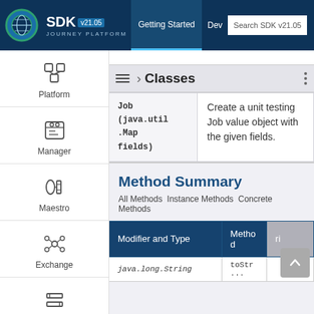SDK v21.05 JOURNEY PLATFORM — Getting Started | Developer — Search SDK v21.05
› Classes
|  |  |
| --- | --- |
| Job
(java.util
.Map
fields) | Create a unit testing Job value object with the given fields. |
Method Summary
All Methods Instance Methods Concrete Methods
| Modifier and Type | Method | Description |
| --- | --- | --- |
| java.lang.String | toStr... |  |